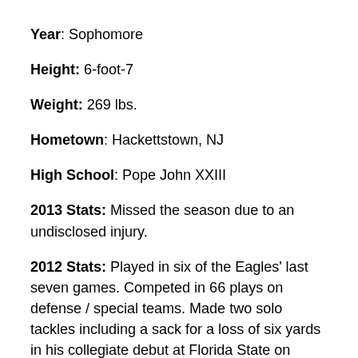Year: Sophomore
Height: 6-foot-7
Weight: 269 lbs.
Hometown: Hackettstown, NJ
High School: Pope John XXIII
2013 Stats: Missed the season due to an undisclosed injury.
2012 Stats: Played in six of the Eagles' last seven games. Competed in 66 plays on defense / special teams. Made two solo tackles including a sack for a loss of six yards in his collegiate debut at Florida State on October 13. Recorded a solo stop against Notre